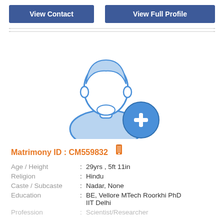View Contact
View Full Profile
[Figure (illustration): Generic male silhouette/avatar icon in blue, with a blue circle containing a white plus sign in the lower right corner, indicating add photo functionality.]
Matrimony ID : CM559832
| Age / Height | : | 29yrs , 5ft 11in |
| Religion | : | Hindu |
| Caste / Subcaste | : | Nadar, None |
| Education | : | BE, Vellore MTech Roorkhi PhD IIT Delhi |
| Profession | : | Scientist/Researcher |